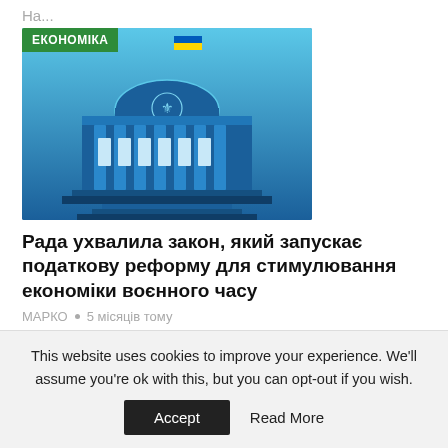На...
[Figure (illustration): Ukrainian parliament building illustration with blue and yellow flag on top, labeled ЕКОНОМІКА in green badge]
Рада ухвалила закон, який запускає податкову реформу для стимулювання економіки воєнного часу
МАРКО • 5 місяців тому
Запуск податкової реформи в Україні, яка покликана значно зменшити податкове навантаження на бізнес в умовах війни з росією, анонсував Президент Володимир Зеленський у нічному...
This website uses cookies to improve your experience. We'll assume you're ok with this, but you can opt-out if you wish.